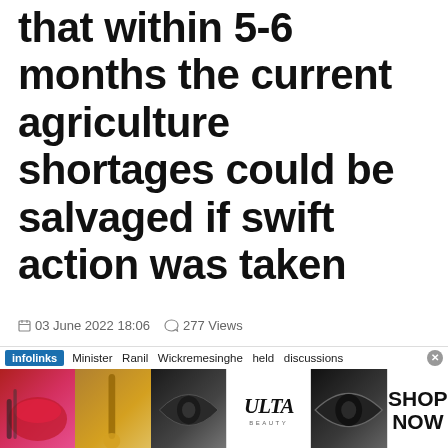that within 5-6 months the current agriculture shortages could be salvaged if swift action was taken
03 June 2022 18:06   277 Views
[Figure (screenshot): Advertisement banner with infolinks label and text 'Minister Ranil Wickremesinghe held discussions' followed by a cosmetics/beauty ad showing makeup imagery, ULTA Beauty logo, and SHOP NOW call to action]